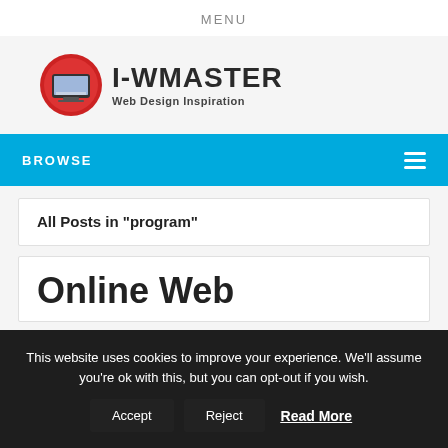MENU
[Figure (logo): I-WMASTER Web Design Inspiration logo with red circle containing a laptop icon and bold text]
BROWSE
All Posts in "program"
Online Web
This website uses cookies to improve your experience. We'll assume you're ok with this, but you can opt-out if you wish. Accept Reject Read More